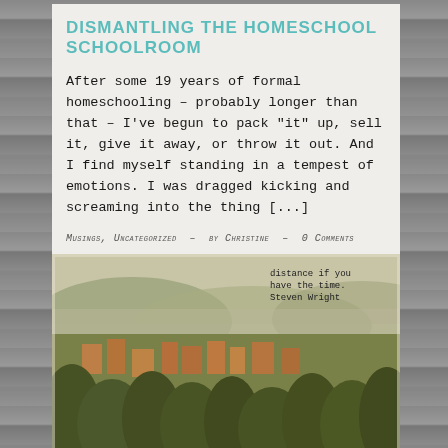DISMANTLING THE HOMESCHOOL SCHOOLROOM
After some 19 years of formal homeschooling – probably longer than that – I've begun to pack "it" up, sell it, give it away, or throw it out. And I find myself standing in a tempest of emotions. I was dragged kicking and screaming into the thing [...]
Musings, Uncategorized  -  by Christine  -  0 Comments
[Figure (photo): Vintage postcard-style landscape photograph showing a hillside town with green trees and rooftops, with mountains and a wide valley in the background. A quote overlay reads: 'distance if you have the time. Steven Wright']